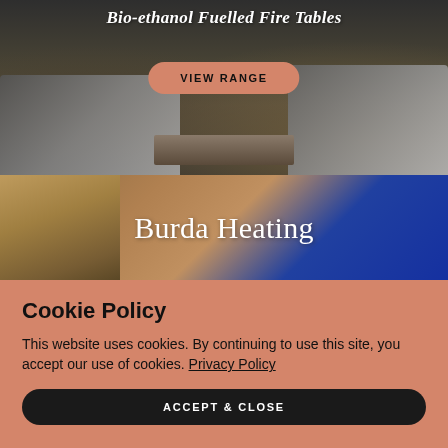[Figure (photo): Outdoor patio scene with dark wicker sofa and cushions, bio-ethanol fire table in center, modern landscaping background]
Bio-ethanol Fuelled Fire Tables
VIEW RANGE
[Figure (photo): Close-up of Burda infrared heating element mounted on wooden structure, blue surface visible, stone wall texture on left]
Burda Heating
Cookie Policy
This website uses cookies. By continuing to use this site, you accept our use of cookies. Privacy Policy
ACCEPT & CLOSE